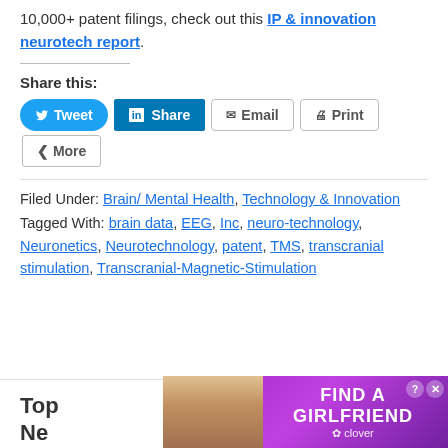10,000+ patent filings, check out this IP & innovation neurotech report.
Share this:
Share buttons: Tweet, Share, Email, Print, More
Filed Under: Brain/ Mental Health, Technology & Innovation
Tagged With: brain data, EEG, Inc, neuro-technology, Neuronetics, Neurotechnology, patent, TMS, transcranial stimulation, Transcranial-Magnetic-Stimulation
Top Ne
[Figure (screenshot): Advertisement overlay: purple background, 'FIND A GIRLFRIEND' text, clover logo, woman photo on left, Close X button, ? and X icons]